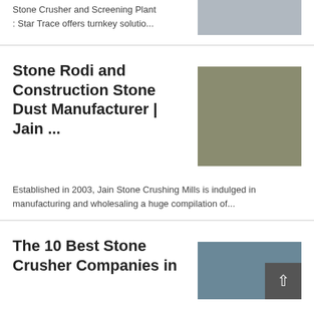Stone Crusher and Screening Plant : Star Trace offers turnkey solutio...
Stone Rodi and Construction Stone Dust Manufacturer | Jain ...
Established in 2003, Jain Stone Crushing Mills is indulged in manufacturing and wholesaling a huge compilation of...
The 10 Best Stone Crusher Companies in